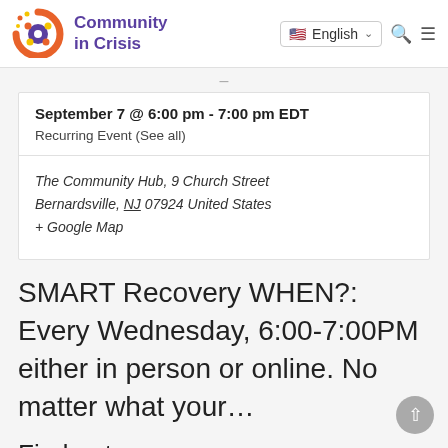[Figure (logo): Community in Crisis logo with colorful circular dots icon and purple text]
September 7 @ 6:00 pm - 7:00 pm EDT
Recurring Event (See all)
The Community Hub, 9 Church Street Bernardsville, NJ 07924 United States + Google Map
SMART Recovery WHEN?: Every Wednesday, 6:00-7:00PM either in person or online. No matter what your...
Find out more »